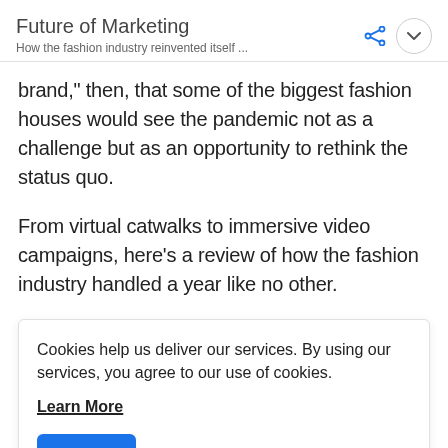Future of Marketing
How the fashion industry reinvented itself ...
brand,” then, that some of the biggest fashion houses would see the pandemic not as a challenge but as an opportunity to rethink the status quo.
From virtual catwalks to immersive video campaigns, here’s a review of how the fashion industry handled a year like no other.
Cookies help us deliver our services. By using our services, you agree to our use of cookies.

Learn More

Got It
showcase their creativity.